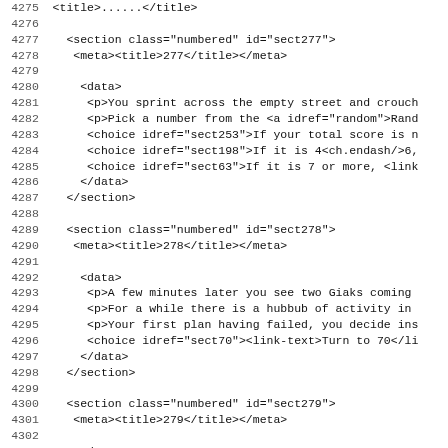Source code listing lines 4275-4307 showing XML markup for sections sect277, sect278, sect279
| line | code |
| --- | --- |
| 4275 |   <title>... |
| 4276 |  |
| 4277 |     <section class="numbered" id="sect277"> |
| 4278 |      <meta><title>277</title></meta> |
| 4279 |  |
| 4280 |       <data> |
| 4281 |        <p>You sprint across the empty street and crouch |
| 4282 |        <p>Pick a number from the <a idref="random">Rand |
| 4283 |        <choice idref="sect253">If your total score is n |
| 4284 |        <choice idref="sect198">If it is 4<ch.endash/>6, |
| 4285 |        <choice idref="sect63">If it is 7 or more, <link |
| 4286 |       </data> |
| 4287 |     </section> |
| 4288 |  |
| 4289 |     <section class="numbered" id="sect278"> |
| 4290 |      <meta><title>278</title></meta> |
| 4291 |  |
| 4292 |       <data> |
| 4293 |        <p>A few minutes later you see two Giaks coming |
| 4294 |        <p>For a while there is a hubbub of activity in |
| 4295 |        <p>Your first plan having failed, you decide ins |
| 4296 |        <choice idref="sect70"><link-text>Turn to 70</li |
| 4297 |       </data> |
| 4298 |     </section> |
| 4299 |  |
| 4300 |     <section class="numbered" id="sect279"> |
| 4301 |      <meta><title>279</title></meta> |
| 4302 |  |
| 4303 |       <data> |
| 4304 |        <p>You draw back the bolt and push the rickety d |
| 4305 |        <p>You follow this passage to its end, keeping t |
| 4306 |  |
| 4307 |       <illustration class="inline"> |